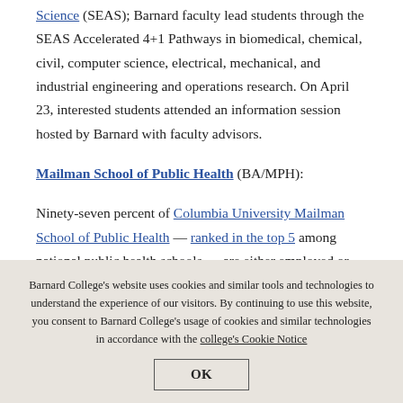Science (SEAS); Barnard faculty lead students through the SEAS Accelerated 4+1 Pathways in biomedical, chemical, civil, computer science, electrical, mechanical, and industrial engineering and operations research. On April 23, interested students attended an information session hosted by Barnard with faculty advisors.
Mailman School of Public Health (BA/MPH):
Ninety-seven percent of Columbia University Mailman School of Public Health — ranked in the top 5 among national public health schools — are either employed or continuing studies after graduation. This pathway also...
Barnard College's website uses cookies and similar tools and technologies to understand the experience of our visitors. By continuing to use this website, you consent to Barnard College's usage of cookies and similar technologies in accordance with the college's Cookie Notice